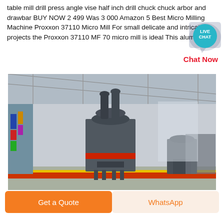table mill drill press angle vise half inch drill chuck chuck arbor and drawbar BUY NOW 2 499 Was 3 000 Amazon 5 Best Micro Milling Machine Proxxon 37110 Micro Mill For small delicate and intricate projects the Proxxon 37110 MF 70 micro mill is ideal This aluminum
[Figure (other): Live Chat bubble icon with teal circle labeled LIVE CHAT and speech bubble graphic, with red Chat Now text]
[Figure (photo): Industrial milling machine equipment inside a large warehouse/factory building with metal roof structure. Large gray industrial grinding mill in center foreground with cylindrical components and red accent ring. Additional equipment visible in background. Colorful flags/banners on left side structure.]
Get a Quote
WhatsApp